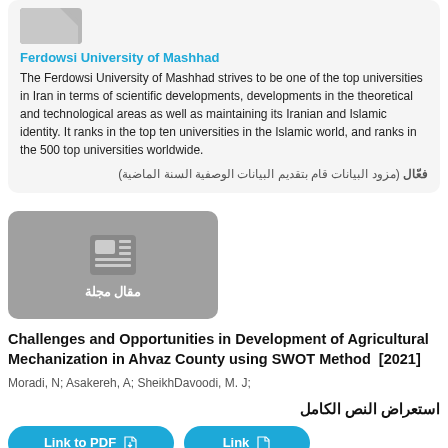[Figure (logo): Ferdowsi University of Mashhad logo placeholder]
Ferdowsi University of Mashhad
The Ferdowsi University of Mashhad strives to be one of the top universities in Iran in terms of scientific developments, developments in the theoretical and technological areas as well as maintaining its Iranian and Islamic identity. It ranks in the top ten universities in the Islamic world, and ranks in the 500 top universities worldwide.
فعّال (مزود البيانات قام بتقديم البيانات الوصفية السنة الماضية)
[Figure (illustration): Article/journal icon with grid layout, labeled مقال مجلة]
Challenges and Opportunities in Development of Agricultural Mechanization in Ahvaz County using SWOT Method [2021]
Moradi, N; Asakereh, A; SheikhDavoodi, M. J;
استعراض النص الكامل
Link to PDF   Link